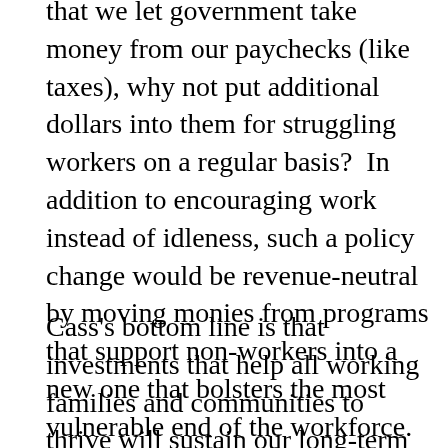that we let government take money from our paychecks (like taxes), why not put additional dollars into them for struggling workers on a regular basis?  In addition to encouraging work instead of idleness, such a policy change would be revenue-neutral by moving monies from programs that support non-workers into a new one that bolsters the most vulnerable end of the workforce.
Cass's bottom line is that investments that help all working families and communities to thrive will sustain our long-term prosperity more effectively than most government investments today. As taxpayers who finance and citizens who vote for the future that we